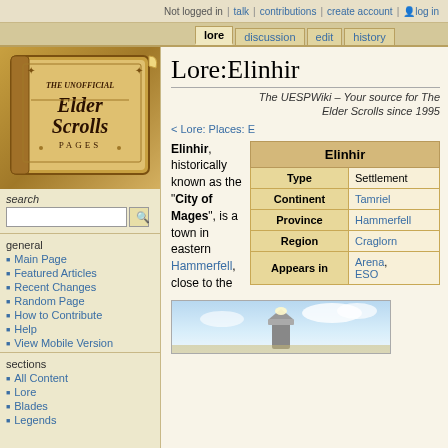Not logged in  talk  contributions  create account  log in
lore | discussion | edit | history
[Figure (logo): The Unofficial Elder Scrolls Pages logo — ornate parchment book with text]
search
Main Page
Featured Articles
Recent Changes
Random Page
How to Contribute
Help
View Mobile Version
sections
All Content
Lore
Blades
Legends
Lore:Elinhir
The UESPWiki – Your source for The Elder Scrolls since 1995
< Lore: Places: E
Elinhir, historically known as the "City of Mages", is a town in eastern Hammerfell, close to the
| Elinhir |  |
| --- | --- |
| Type | Settlement |
| Continent | Tamriel |
| Province | Hammerfell |
| Region | Craglorn |
| Appears in | Arena, ESO |
[Figure (photo): Screenshot of Elinhir town with sky and tower visible]